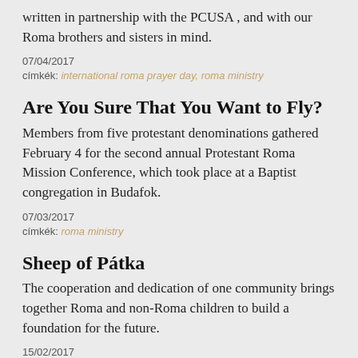written in partnership with the PCUSA , and with our Roma brothers and sisters in mind.
07/04/2017
címkék: international roma prayer day, roma ministry
Are You Sure That You Want to Fly?
Members from five protestant denominations gathered February 4 for the second annual Protestant Roma Mission Conference, which took place at a Baptist congregation in Budafok.
07/03/2017
címkék: roma ministry
Sheep of Pátka
The cooperation and dedication of one community brings together Roma and non-Roma children to build a foundation for the future.
15/02/2017